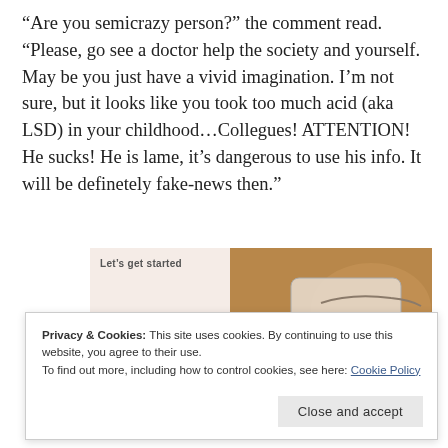“Are you semicrazy person?” the comment read. “Please, go see a doctor help the society and yourself. May be you just have a vivid imagination. I’m not sure, but it looks like you took too much acid (aka LSD) in your childhood…Collegues! ATTENTION! He sucks! He is lame, it’s dangerous to use his info. It will be definetely fake-news then.”
[Figure (screenshot): Screenshot of a webpage showing text 'Let's get started' on the left with a beige background, and on the right a photo of hands holding a white card or phone on a warm brown background.]
Privacy & Cookies: This site uses cookies. By continuing to use this website, you agree to their use.
To find out more, including how to control cookies, see here: Cookie Policy
Close and accept